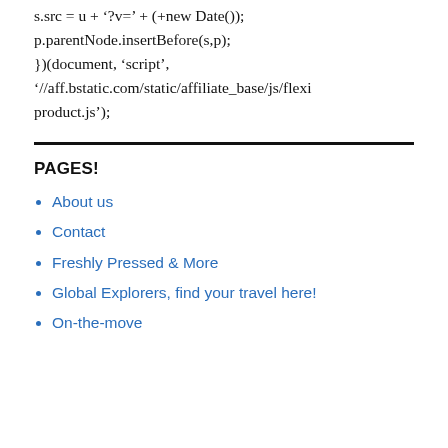s.src = u + '?v=' + (+new Date());
p.parentNode.insertBefore(s,p);
})(document, 'script',
'//aff.bstatic.com/static/affiliate_base/js/flexiproduct.js');
PAGES!
About us
Contact
Freshly Pressed & More
Global Explorers, find your travel here!
On-the-move